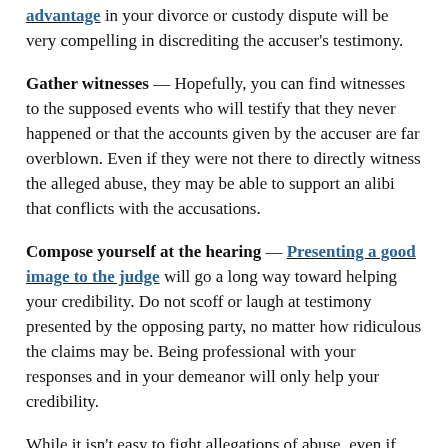advantage in your divorce or custody dispute will be very compelling in discrediting the accuser's testimony.
Gather witnesses — Hopefully, you can find witnesses to the supposed events who will testify that they never happened or that the accounts given by the accuser are far overblown. Even if they were not there to directly witness the alleged abuse, they may be able to support an alibi that conflicts with the accusations.
Compose yourself at the hearing — Presenting a good image to the judge will go a long way toward helping your credibility. Do not scoff or laugh at testimony presented by the opposing party, no matter how ridiculous the claims may be. Being professional with your responses and in your demeanor will only help your credibility.
While it isn't easy to fight allegations of abuse, even if they are completely fabricated, it is possible to minimize the impact they